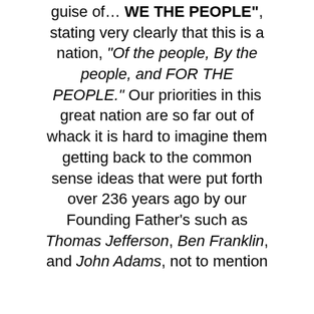guise of… "WE THE PEOPLE", stating very clearly that this is a nation, "Of the people, By the people, and FOR THE PEOPLE." Our priorities in this great nation are so far out of whack it is hard to imagine them getting back to the common sense ideas that were put forth over 236 years ago by our Founding Father's such as Thomas Jefferson, Ben Franklin, and John Adams, not to mention